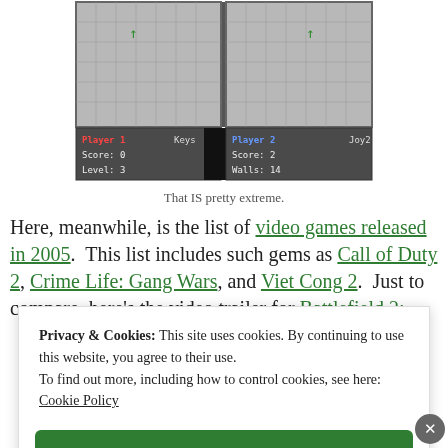[Figure (screenshot): Top-down 2D video game screenshot showing two player panels side by side. Player 1 panel shows Score: 0, Level: 3, Keys. Player 2 panel shows Score: 2, Walls: 14, Joy2.]
That IS pretty extreme.
Here, meanwhile, is the list of video games released in 2005. This list includes such gems as Call of Duty 2, Crime Life: Gang Wars, and Viet Cong 2. Just to compare, here's the video trailer for Battlefield 2:
Privacy & Cookies: This site uses cookies. By continuing to use this website, you agree to their use.
To find out more, including how to control cookies, see here: Cookie Policy
Close and accept